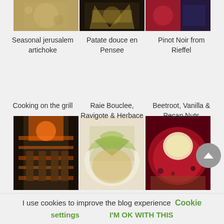[Figure (photo): Three food photos partially visible at top: grains/seeds in bowl, cauliflower dish, watch/wine]
Seasonal jerusalem artichoke
Patate douce en Pensee
Pinot Noir from Rieffel
[Figure (photo): Cooking on a grill with flames]
[Figure (photo): Raie Bouclee dish with greens on white plate]
[Figure (photo): Beetroot with vanilla cream and pecan nuts in red sauce]
Cooking on the grill
Raie Bouclee, Ravigote & Herbace
Beetroot, Vanilla & Pecan Nuts
[Figure (photo): Three more food/restaurant photos partially visible at bottom]
I use cookies to improve the blog experience
Cookie settings
I'M OK WITH THIS